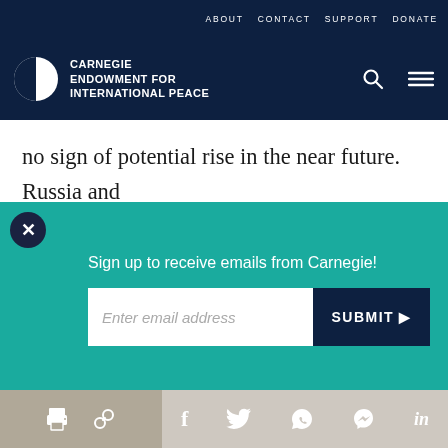ABOUT   CONTACT   SUPPORT   DONATE
[Figure (logo): Carnegie Endowment for International Peace logo with navigation icons (search and menu)]
no sign of potential rise in the near future. Russia and Russian companies are not singled out for hostile e
[Figure (screenshot): Email signup overlay popup with teal background, showing 'Sign up to receive emails from Carnegie!' text, an email input field with placeholder 'Enter email address', and a dark navy SUBMIT button with right arrow]
several years before 2014. From 2015 to 2016, Russian oil and gas production was increasing faster
Social sharing icons: print, link, Facebook, Twitter, WhatsApp, Messenger, LinkedIn